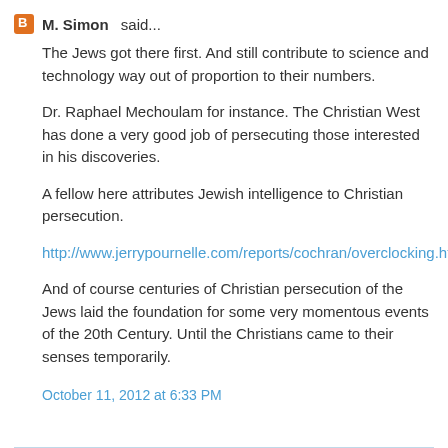M. Simon said...
The Jews got there first. And still contribute to science and technology way out of proportion to their numbers.
Dr. Raphael Mechoulam for instance. The Christian West has done a very good job of persecuting those interested in his discoveries.
A fellow here attributes Jewish intelligence to Christian persecution.
http://www.jerrypournelle.com/reports/cochran/overclocking.html
And of course centuries of Christian persecution of the Jews laid the foundation for some very momentous events of the 20th Century. Until the Christians came to their senses temporarily.
October 11, 2012 at 6:33 PM